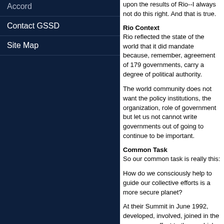Accord
Contact GSSD
Site Map
upon the results of Rio--I always not do this right. And that is true.
Rio Context
Rio reflected the state of the world that it did mandate because, remember, agreement of 179 governments, carry a degree of political authority.
The world community does not want the policy institutions, the organization, role of government but let us not cannot write governments out of going to continue to be important.
Common Task
So our common task is really this:
How do we consciously help to guide our collective efforts is a more secure planet?
At their Summit in June 1992, developed, involved, joined in the consensus effect to them, which we call Agenda 21, biodiversity -- were included, and negotiated. And at the same time, to make the transition to sustainable resources and access to technology, well, as he has done in the past,